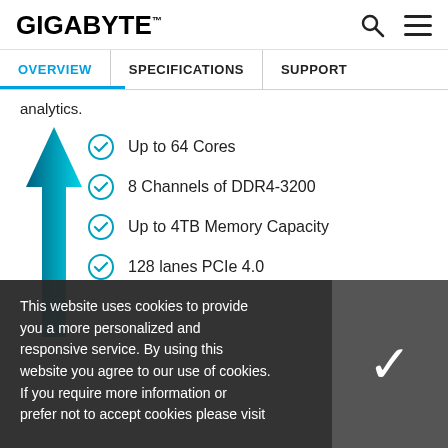GIGABYTE
OVERVIEW | SPECIFICATIONS | SUPPORT
analytics.
Up to 64 Cores
8 Channels of DDR4-3200
Up to 4TB Memory Capacity
128 lanes PCIe 4.0
This website uses cookies to provide you a more personalized and responsive service. By using this website you agree to our use of cookies. If you require more information or prefer not to accept cookies please visit